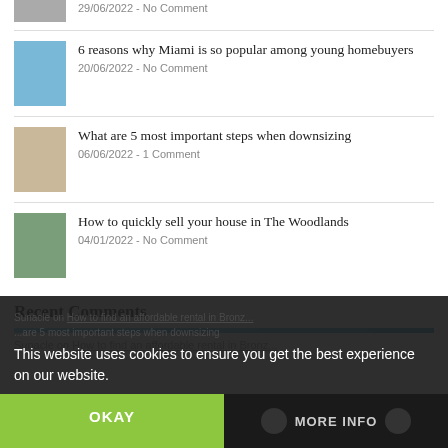[Figure (photo): Partial thumbnail image at top, partially cropped]
29/06/2022 - No Comment
[Figure (photo): Aerial photo of Miami beach and buildings]
6 reasons why Miami is so popular among young homebuyers
20/06/2022 - No Comment
[Figure (photo): Interior room photo showing woman]
What are 5 most important steps when downsizing
06/06/2022 - 1 Comment
[Figure (photo): Outdoor garden/woodland photo]
How to quickly sell your house in The Woodlands
04/01/2022 - No Comment
Recent Comments
Sunacle on How to find an affordable rental in Bronz...
This website uses cookies to ensure you get the best experience on our website.
OKAY
MORE INFO